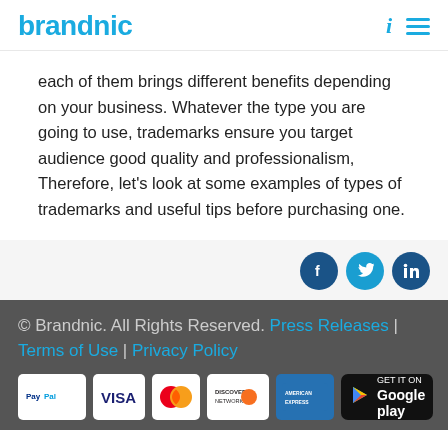brandnic
each of them brings different benefits depending on your business. Whatever the type you are going to use, trademarks ensure you target audience good quality and professionalism, Therefore, let's look at some examples of types of trademarks and useful tips before purchasing one.
[Figure (other): Social media share buttons: Facebook, Twitter, LinkedIn]
© Brandnic. All Rights Reserved. Press Releases | Terms of Use | Privacy Policy
[Figure (other): Payment method logos: PayPal, VISA, MasterCard, Discover Network, American Express, and Google Play badge]